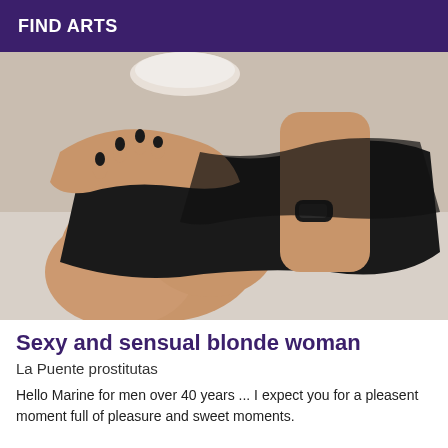FIND ARTS
[Figure (photo): A woman wearing a black dress sitting on a bed, showing legs and hands with dark nail polish and a black watch.]
Sexy and sensual blonde woman
La Puente prostitutas
Hello Marine for men over 40 years ... I expect you for a pleasent moment full of pleasure and sweet moments.